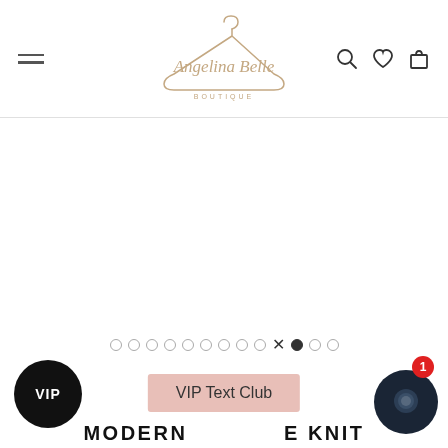[Figure (logo): Angelina Belle Boutique logo with a clothes hanger illustration and script text]
[Figure (screenshot): White/blank main product image area]
[Figure (infographic): VIP badge circle (black), dot navigation row with X and active dot, VIP Text Club pink pill button, chat bubble icon with red badge showing 1]
MODERN ... E KNIT